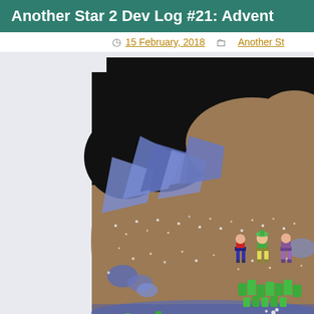Another Star 2 Dev Log #21: Advent
15 February, 2018   Another St
[Figure (screenshot): A retro-style RPG game screenshot showing a cave/dungeon area with brown terrain, blue crystal formations, black cave ceiling, green plant patches, and three player character sprites (one in red/blue, one in green, one in purple) standing on the cave floor with small white sparkles scattered throughout.]